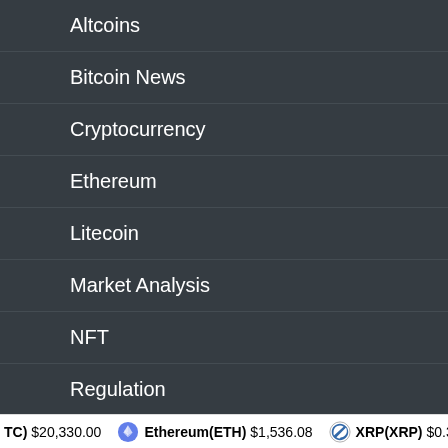Altcoins
Bitcoin News
Cryptocurrency
Ethereum
Litecoin
Market Analysis
NFT
Regulation
XRP
Archives
(BTC) $20,330.00  Ethereum(ETH) $1,536.08  XRP(XRP) $0.32